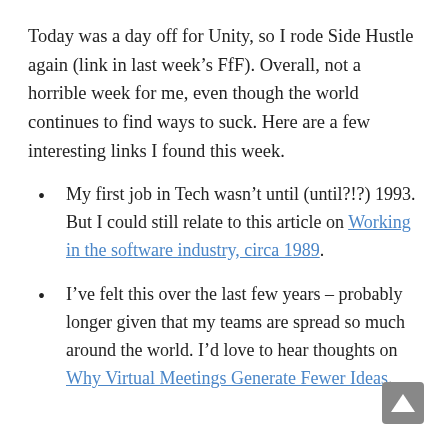Today was a day off for Unity, so I rode Side Hustle again (link in last week’s FfF). Overall, not a horrible week for me, even though the world continues to find ways to suck. Here are a few interesting links I found this week.
My first job in Tech wasn’t until (until?!?) 1993. But I could still relate to this article on Working in the software industry, circa 1989.
I’ve felt this over the last few years – probably longer given that my teams are spread so much around the world. I’d love to hear thoughts on Why Virtual Meetings Generate Fewer Ideas.